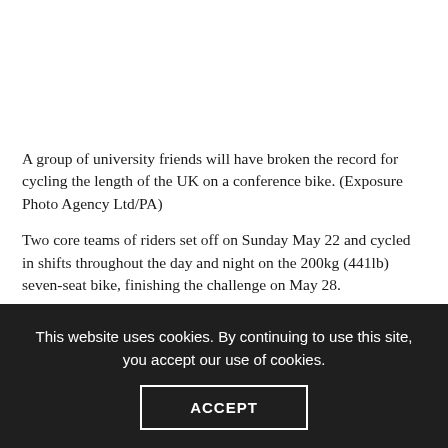[Figure (photo): White/blank area at top of page representing a photo placeholder]
A group of university friends will have broken the record for cycling the length of the UK on a conference bike. (Exposure Photo Agency Ltd/PA)
Two core teams of riders set off on Sunday May 22 and cycled in shifts throughout the day and night on the 200kg (441lb) seven-seat bike, finishing the challenge on May 28.
[partially obscured text about bikes, challenge and route]
The previous [partially obscured] record [partially obscured] miles [partially obscured]